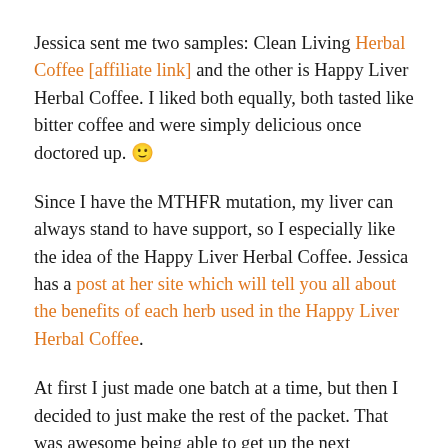Jessica sent me two samples: Clean Living Herbal Coffee [affiliate link] and the other is Happy Liver Herbal Coffee. I liked both equally, both tasted like bitter coffee and were simply delicious once doctored up. 🙂
Since I have the MTHFR mutation, my liver can always stand to have support, so I especially like the idea of the Happy Liver Herbal Coffee. Jessica has a post at her site which will tell you all about the benefits of each herb used in the Happy Liver Herbal Coffee.
At first I just made one batch at a time, but then I decided to just make the rest of the packet. That was awesome being able to get up the next morning and have ready to use “coffee” for my drinks.
I really love that I could have this for a drink late at night and it wouldn’t keep me awake! I’m looking forward to